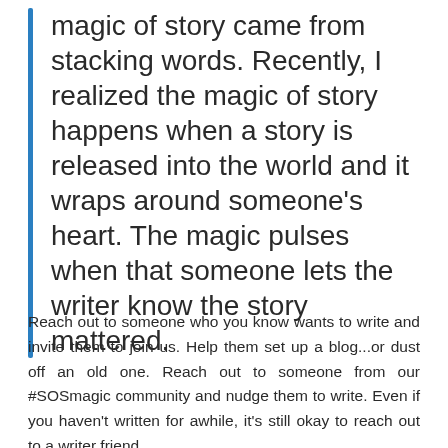magic of story came from stacking words. Recently, I realized the magic of story happens when a story is released into the world and it wraps around someone's heart. The magic pulses when that someone lets the writer know the story mattered.
Reach out to someone who you know wants to write and invite them to join us. Help them set up a blog...or dust off an old one. Reach out to someone from our #SOSmagic community and nudge them to write. Even if you haven't written for awhile, it's still okay to reach out to a writer friend.